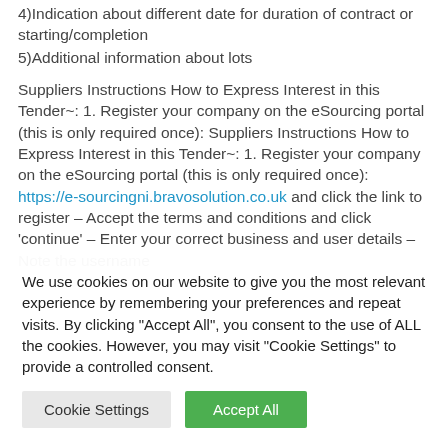4)Indication about different date for duration of contract or starting/completion
5)Additional information about lots
Suppliers Instructions How to Express Interest in this Tender~: 1. Register your company on the eSourcing portal (this is only required once): Suppliers Instructions How to Express Interest in this Tender~: 1. Register your company on the eSourcing portal (this is only required once): https://e-sourcingni.bravosolution.co.uk and click the link to register – Accept the terms and conditions and click 'continue' – Enter your correct business and user details – Note the username
We use cookies on our website to give you the most relevant experience by remembering your preferences and repeat visits. By clicking "Accept All", you consent to the use of ALL the cookies. However, you may visit "Cookie Settings" to provide a controlled consent.